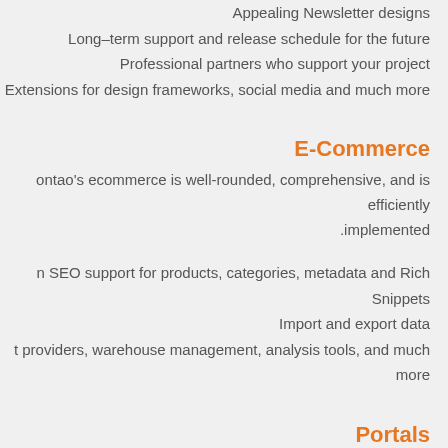Appealing Newsletter designs
Long-term support and release schedule for the future
Professional partners who support your project
Extensions for design frameworks, social media and much more
E-Commerce
Contao's ecommerce is well-rounded, comprehensive, and is efficiently implemented.
n SEO support for products, categories, metadata and Rich Snippets
Import and export data
t providers, warehouse management, analysis tools, and much more
Portals
need to spread large amounts of information among your user base
tals using included functions such as news, events, and newsletters.
Network your user communities